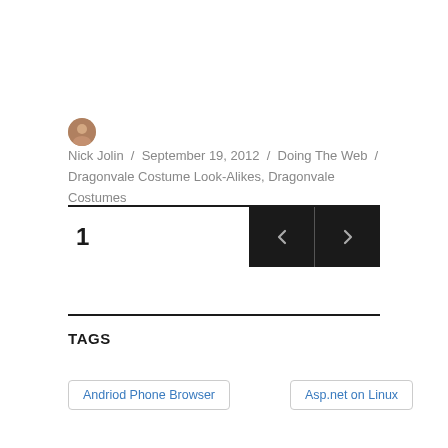Nick Jolin / September 19, 2012 / Doing The Web / Dragonvale Costume Look-Alikes, Dragonvale Costumes
1
TAGS
Andriod Phone Browser
Asp.net on Linux